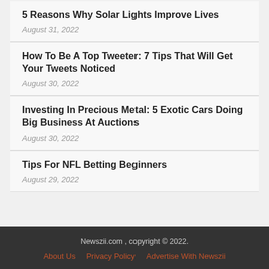5 Reasons Why Solar Lights Improve Lives
August 31, 2022
How To Be A Top Tweeter: 7 Tips That Will Get Your Tweets Noticed
August 30, 2022
Investing In Precious Metal: 5 Exotic Cars Doing Big Business At Auctions
August 30, 2022
Tips For NFL Betting Beginners
August 29, 2022
Newszii.com , copyright © 2022.
About Us  Privacy Policy  Advertise With Newszii